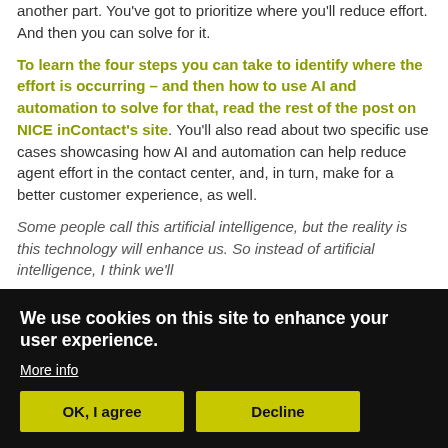another part. You've got to prioritize where you'll reduce effort. And then you can solve for it.
To learn the four steps you can take to identify where the effort is occurring – and then how to use AI and automation to solve for that, read the rest of the post on NICE inContact's site. You'll also read about two specific use cases showcasing how AI and automation can help reduce agent effort in the contact center, and, in turn, make for a better customer experience, as well.
Some people call this artificial intelligence, but the reality is this technology will enhance us. So instead of artificial intelligence, I think we'll
We use cookies on this site to enhance your user experience.
More info
OK, I agree
Decline